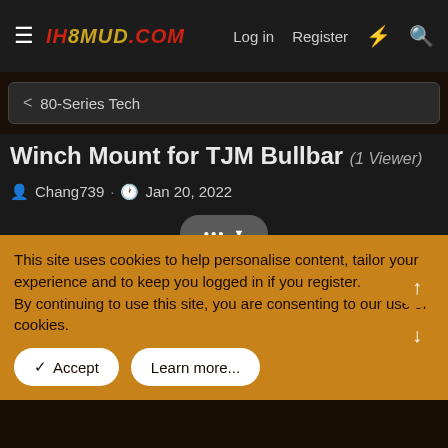IH8MUD.COM  Log in  Register
< 80-Series Tech
Winch Mount for TJM Bullbar (1 Viewer)
Chang739 · Jan 20, 2022
Chang739
This site uses cookies to help personalise content, tailor your experience and to keep you logged in if you register.
By continuing to use this site, you are consenting to our use of cookies.
✓ Accept   Learn more...